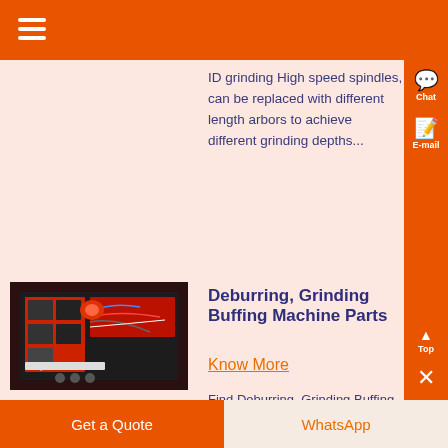ID grinding High speed spindles, can be replaced with different length arbors to achieve different grinding depths...
[Figure (photo): Photo of an industrial deburring/grinding machine with electrical components, wires, and electronic modules visible]
Deburring, Grinding Buffing Machine Parts
Know More
Find Deburring, Grinding Buffing Machine Parts at MSC Industrial
Get a Quote | WhatsApp